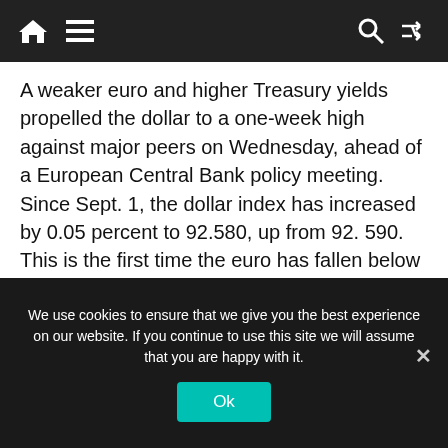Navigation bar with home, menu, search, and shuffle icons
A weaker euro and higher Treasury yields propelled the dollar to a one-week high against major peers on Wednesday, ahead of a European Central Bank policy meeting. Since Sept. 1, the dollar index has increased by 0.05 percent to 92.580, up from 92. 590. This is the first time the euro has fallen below $1.18 since September 2, Because of rising U.S. yields, the dollar gained 0.08 percent to 110.385 yen.

Wednesday's benchmark 10-year Treasury note increased to 1.385 percent, up over 6 basis points
We use cookies to ensure that we give you the best experience on our website. If you continue to use this site we will assume that you are happy with it.